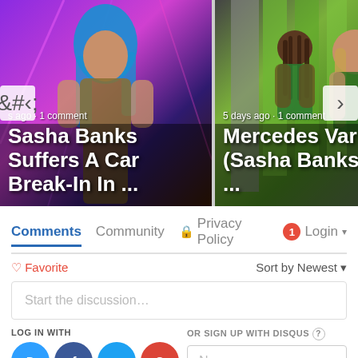[Figure (screenshot): Carousel card 1: Sasha Banks with blue hair in wrestling attire against purple/pink stage lights. Text overlay: 's ago · 1 comment' and title 'Sasha Banks Suffers A Car Break-In In ...']
[Figure (screenshot): Carousel card 2: Two women (Mercedes Varnado/Sasha Banks) against green background. Text overlay: '5 days ago · 1 comment' and title 'Mercedes Varnado (Sasha Banks) And ...']
Comments
Community
Privacy Policy
Login
♡ Favorite
Sort by Newest
Start the discussion...
LOG IN WITH
OR SIGN UP WITH DISQUS
Name